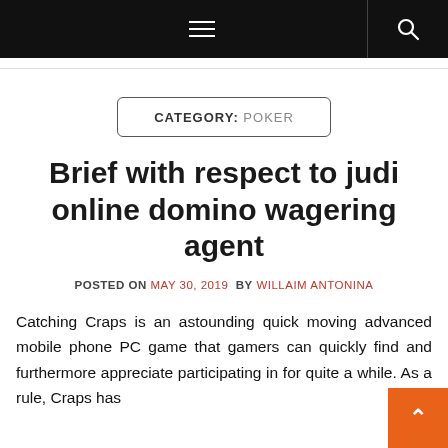≡  🔍
CATEGORY: POKER
Brief with respect to judi online domino wagering agent
POSTED ON MAY 30, 2019 BY WILLAIM ANTONINA
Catching Craps is an astounding quick moving advanced mobile phone PC game that gamers can quickly find and furthermore appreciate participating in for quite a while. As a rule, Craps has